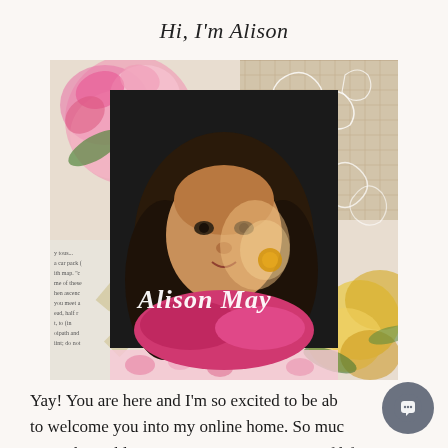Hi, I'm Alison
[Figure (photo): Portrait photo of Alison May, a woman with curly dark hair wearing a pink scarf, set against a decorative collage background with flowers, a burlap texture, and book pages. A handwritten-style script reads 'Alison May' overlaid on the lower portion.]
Yay! You are here and I'm so excited to be able to welcome you into my online home. So much more than a blog, BrocanteHome is a way of life...